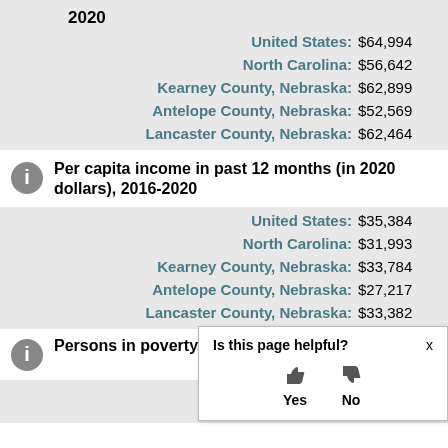2020
United States: $64,994
North Carolina: $56,642
Kearney County, Nebraska: $62,899
Antelope County, Nebraska: $52,569
Lancaster County, Nebraska: $62,464
Per capita income in past 12 months (in 2020 dollars), 2016-2020
United States: $35,384
North Carolina: $31,993
Kearney County, Nebraska: $33,784
Antelope County, Nebraska: $27,217
Lancaster County, Nebraska: $33,382
Persons in poverty, percent
Is this page helpful? Yes No